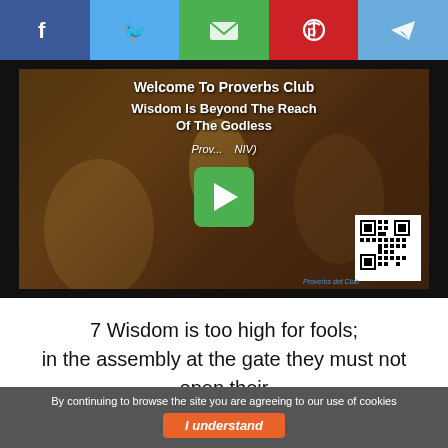[Figure (screenshot): Social media share bar with Facebook (blue), Twitter (light blue), Email (green), Pinterest (red), and Telegram (light blue) buttons]
[Figure (screenshot): Video thumbnail for Proverbs Club showing a classical painting of a biblical scene. Text overlay reads 'Welcome To Proverbs Club', 'Wisdom Is Beyond The Reach Of The Godless', and a verse reference (NIV). A green play button is centered. QR code in bottom right with 'Proverbs dot Club' label.]
7 Wisdom is too high for fools;
in the assembly at the gate they must not open their
By continuing to browse the site you are agreeing to our use of cookies
I understand